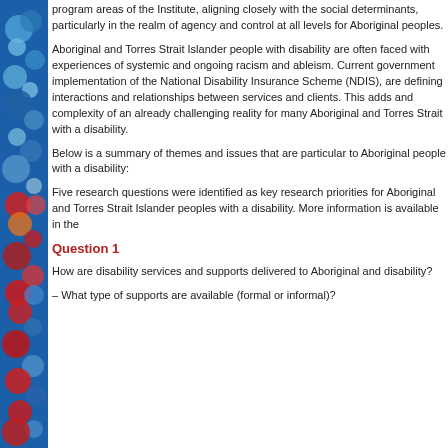program areas of the Institute, aligning closely with the social determinants, particularly in the realm of agency and control at all levels for Aboriginal peoples.
Aboriginal and Torres Strait Islander people with disability are often faced with experiences of systemic and ongoing racism and ableism. Current government implementation of the National Disability Insurance Scheme (NDIS), are defining interactions and relationships between services and clients. This adds and complexity of an already challenging reality for many Aboriginal and Torres Strait with a disability.
Below is a summary of themes and issues that are particular to Aboriginal people with a disability:
Five research questions were identified as key research priorities for Aboriginal and Torres Strait Islander peoples with a disability. More information is available in the
Question 1
How are disability services and supports delivered to Aboriginal and disability?
– What type of supports are available (formal or informal)?